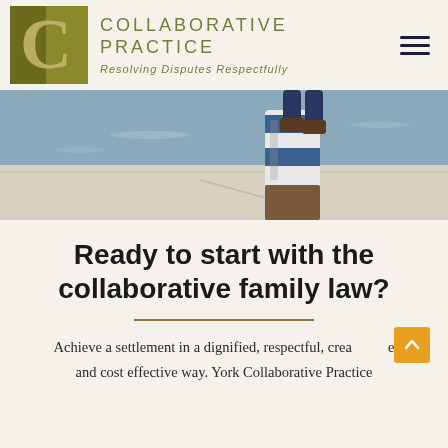[Figure (logo): Collaborative Practice logo with golden-olive square containing a large C, and text COLLABORATIVE PRACTICE / Resolving Disputes Respectfully]
[Figure (photo): Photo showing lower half of a person sitting on a dock or pier, with legs dangling and a striped blue-white weathered post/bollard, water in background]
Ready to start with the collaborative family law?
Achieve a settlement in a dignified, respectful, creative and cost effective way. York Collaborative Practice